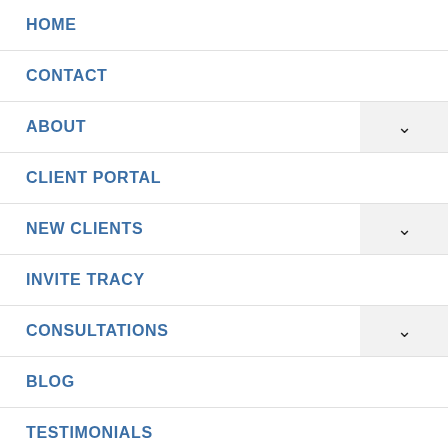HOME
CONTACT
ABOUT
CLIENT PORTAL
NEW CLIENTS
INVITE TRACY
CONSULTATIONS
BLOG
TESTIMONIALS